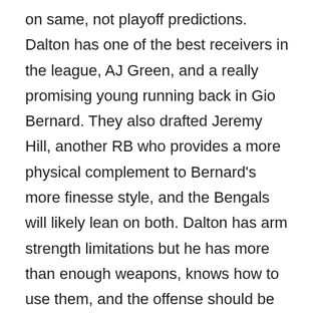on same, not playoff predictions. Dalton has one of the best receivers in the league, AJ Green, and a really promising young running back in Gio Bernard. They also drafted Jeremy Hill, another RB who provides a more physical complement to Bernard's more finesse style, and the Bengals will likely lean on both. Dalton has arm strength limitations but he has more than enough weapons, knows how to use them, and the offense should be solid. There are some questions around the defense, though. If you read my compadre Espo's Minnesota Vikings pick, you'll see the video he posted of rookie Vikings HC Mike Zimmer and his motivational skills. The